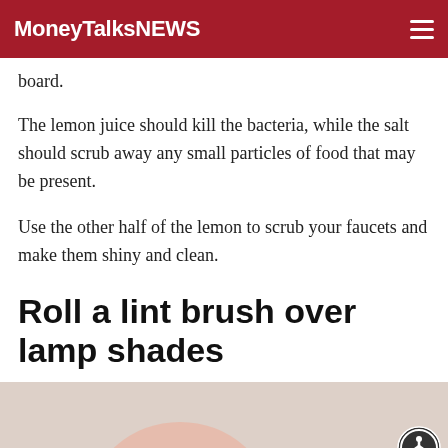MoneyTalksNews
board.
The lemon juice should kill the bacteria, while the salt should scrub away any small particles of food that may be present.
Use the other half of the lemon to scrub your faucets and make them shiny and clean.
Roll a lint brush over lamp shades
[Figure (photo): Partial photo of a lamp shade, bottom portion visible with pink/skin tone object]